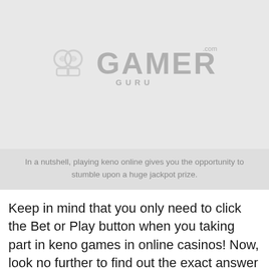[Figure (logo): GuruGamer.com watermark logo on light gray background]
In a nutshell, playing keno online gives you the opportunity to stumble upon a huge jackpot prize.
Keep in mind that you only need to click the Bet or Play button when you taking part in keno games in online casinos! Now, look no further to find out the exact answer for how to play online keno.